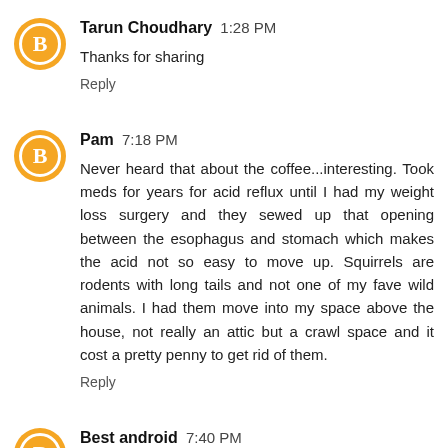Tarun Choudhary 1:28 PM
Thanks for sharing
Reply
Pam 7:18 PM
Never heard that about the coffee...interesting. Took meds for years for acid reflux until I had my weight loss surgery and they sewed up that opening between the esophagus and stomach which makes the acid not so easy to move up. Squirrels are rodents with long tails and not one of my fave wild animals. I had them move into my space above the house, not really an attic but a crawl space and it cost a pretty penny to get rid of them.
Reply
Best android 7:40 PM
I think those are chipmunk babies? If so, they should be in the nest 4-6 weeks and then you'll be able to use your grill